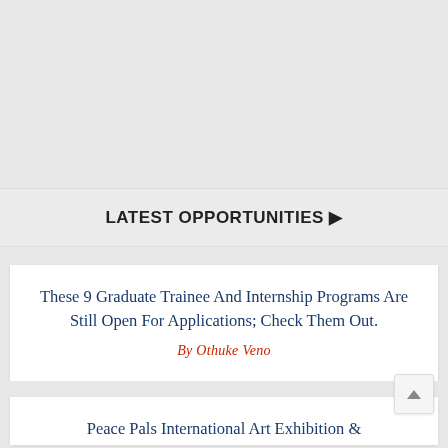LATEST OPPORTUNITIES 🔔
These 9 Graduate Trainee And Internship Programs Are Still Open For Applications; Check Them Out.
By Othuke Veno
Peace Pals International Art Exhibition &